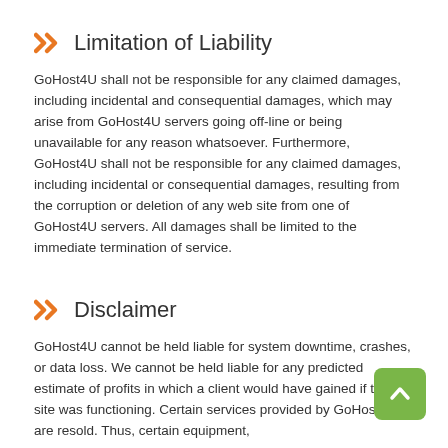Limitation of Liability
GoHost4U shall not be responsible for any claimed damages, including incidental and consequential damages, which may arise from GoHost4U servers going off-line or being unavailable for any reason whatsoever. Furthermore, GoHost4U shall not be responsible for any claimed damages, including incidental or consequential damages, resulting from the corruption or deletion of any web site from one of GoHost4U servers. All damages shall be limited to the immediate termination of service.
Disclaimer
GoHost4U cannot be held liable for system downtime, crashes, or data loss. We cannot be held liable for any predicted estimate of profits in which a client would have gained if their site was functioning. Certain services provided by GoHost4U are resold. Thus, certain equipment,